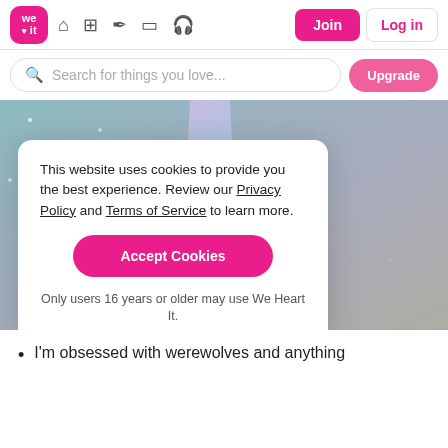[Figure (screenshot): We Heart It website navigation bar with logo, home, grid, pen, rectangle, headphone icons, and Join/Log in buttons]
[Figure (screenshot): Search bar with placeholder 'Search for things you love...' and pink Upgrade button]
[Figure (photo): Colorful glitter/gravel surface with rainbow iridescent streaks]
This website uses cookies to provide you the best experience. Review our Privacy Policy and Terms of Service to learn more.
Accept Cookies
Only users 16 years or older may use We Heart It.
I don't discriminate.
I'm obsessed with werewolves and anything